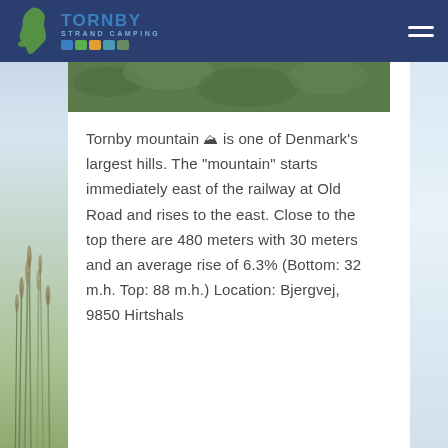[Figure (logo): Tornby Strand Camping logo with green Denmark figure and colored icons, dark blue header background with hamburger menu]
[Figure (photo): Partial photo of green hillside vegetation at the top of the content card]
Tornby mountain ⛰ is one of Denmark's largest hills. The "mountain" starts immediately east of the railway at Old Road and rises to the east. Close to the top there are 480 meters with 30 meters and an average rise of 6.3% (Bottom: 32 m.h. Top: 88 m.h.) Location: Bjergvej, 9850 Hirtshals